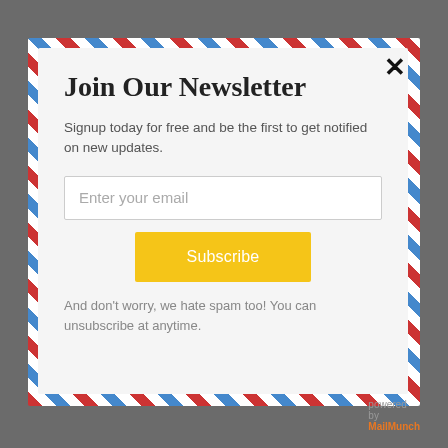Join Our Newsletter
Signup today for free and be the first to get notified on new updates.
Enter your email
Subscribe
And don't worry, we hate spam too! You can unsubscribe at anytime.
powered by MailMunch